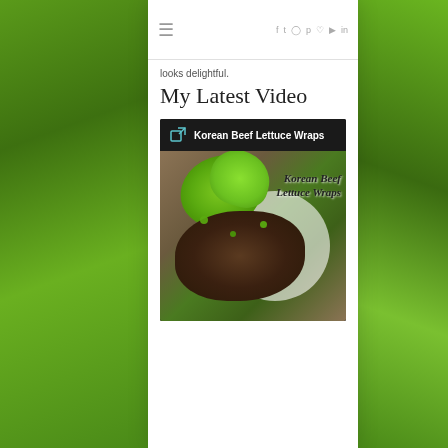≡  f  t  ✦  p  ♡  ▶  in
looks delightful.
My Latest Video
[Figure (screenshot): Video thumbnail for Korean Beef Lettuce Wraps showing ground beef in lettuce cups with green onions, with a dark header bar containing the title 'Korean Beef Lettuce Wraps' and a link icon. The food text overlay reads 'Korean Beef Lettuce Wraps' in italic style.]